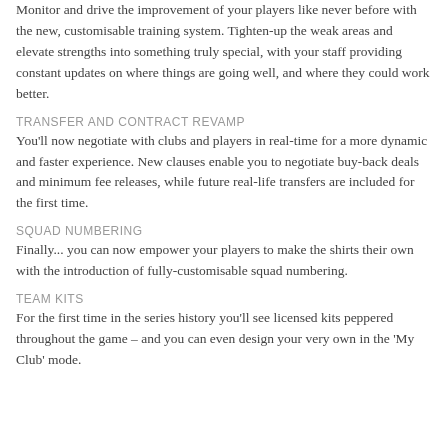Monitor and drive the improvement of your players like never before with the new, customisable training system. Tighten-up the weak areas and elevate strengths into something truly special, with your staff providing constant updates on where things are going well, and where they could work better.
TRANSFER AND CONTRACT REVAMP
You'll now negotiate with clubs and players in real-time for a more dynamic and faster experience. New clauses enable you to negotiate buy-back deals and minimum fee releases, while future real-life transfers are included for the first time.
SQUAD NUMBERING
Finally... you can now empower your players to make the shirts their own with the introduction of fully-customisable squad numbering.
TEAM KITS
For the first time in the series history you'll see licensed kits peppered throughout the game – and you can even design your very own in the 'My Club' mode.